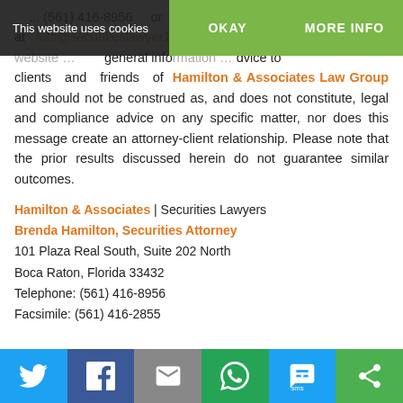This website uses cookies
OKAY
MORE INFO
... (561) 416-8956 or by email at info@securitieslawyer101.com. This securities law website ... general information ... advice to clients and friends of Hamilton & Associates Law Group and should not be construed as, and does not constitute, legal and compliance advice on any specific matter, nor does this message create an attorney-client relationship. Please note that the prior results discussed herein do not guarantee similar outcomes.
Hamilton & Associates | Securities Lawyers
Brenda Hamilton, Securities Attorney
101 Plaza Real South, Suite 202 North
Boca Raton, Florida 33432
Telephone: (561) 416-8956
Facsimile: (561) 416-2855